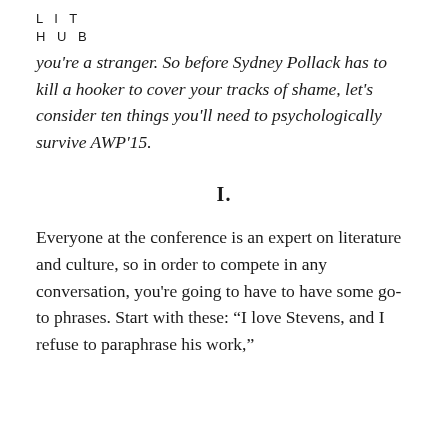L I T
H U B
you're a stranger. So before Sydney Pollack has to kill a hooker to cover your tracks of shame, let's consider ten things you'll need to psychologically survive AWP'15.
I.
Everyone at the conference is an expert on literature and culture, so in order to compete in any conversation, you're going to have to have some go-to phrases. Start with these: “I love Stevens, and I refuse to paraphrase his work,”